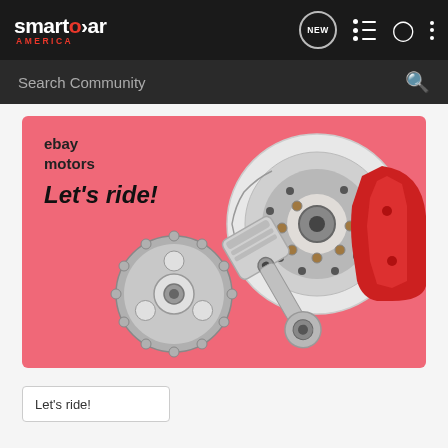smartcar AMERICA — navigation bar with NEW, list, person, and menu icons
Search Community
[Figure (illustration): eBay Motors advertisement banner with pink/coral background showing automotive parts: a gear/sprocket, piston with connecting rod, and brake disc with red caliper. Text reads 'ebay motors' and 'Let's ride!']
Let's ride!